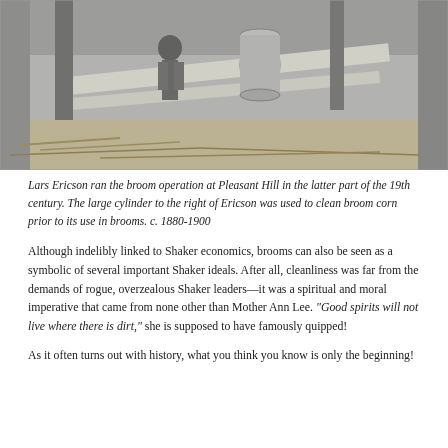[Figure (photo): Black and white historical photograph showing Lars Ericson at the broom operation at Pleasant Hill, with a large cylinder visible, c. 1880-1900]
Lars Ericson ran the broom operation at Pleasant Hill in the latter part of the 19th century. The large cylinder to the right of Ericson was used to clean broom corn prior to its use in brooms. c. 1880-1900
Although indelibly linked to Shaker economics, brooms can also be seen as a symbolic of several important Shaker ideals. After all, cleanliness was far from the demands of rogue, overzealous Shaker leaders—it was a spiritual and moral imperative that came from none other than Mother Ann Lee. “Good spirits will not live where there is dirt,” she is supposed to have famously quipped!
As it often turns out with history, what you think you know is only the beginning!